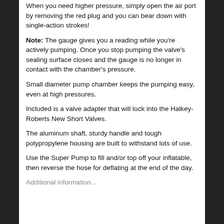When you need higher pressure, simply open the air port by removing the red plug and you can bear down with single-action strokes!
Note: The gauge gives you a reading while you're actively pumping. Once you stop pumping the valve's sealing surface closes and the gauge is no longer in contact with the chamber's pressure.
Small diameter pump chamber keeps the pumping easy, even at high pressures.
Included is a valve adapter that will lock into the Halkey-Roberts New Short Valves.
The aluminum shaft, sturdy handle and tough polypropylene housing are built to withstand lots of use.
Use the Super Pump to fill and/or top off your inflatable, then reverse the hose for deflating at the end of the day.
Additional information...